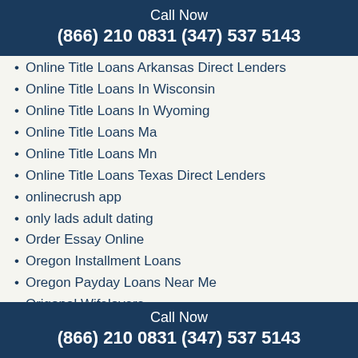Call Now
(866) 210 0831 (347) 537 5143
Online Title Loans Arkansas Direct Lenders
Online Title Loans In Wisconsin
Online Title Loans In Wyoming
Online Title Loans Ma
Online Title Loans Mn
Online Title Loans Texas Direct Lenders
onlinecrush app
only lads adult dating
Order Essay Online
Oregon Installment Loans
Oregon Payday Loans Near Me
Origonal Wifelovers
OurTime probemonat
Pansexual-Dating abmelden
parshippartnersuche.de Anmeldung
parshippartnersuche.de Seite? ?
Partner.de erfahrung
Call Now
(866) 210 0831 (347) 537 5143